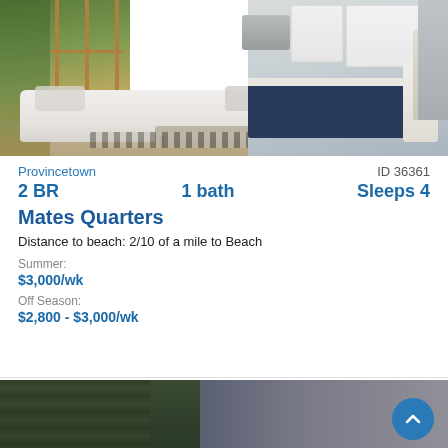[Figure (photo): Interior photo of a vacation rental showing a white sofa, coffee table, blue striped armchair, and open kitchen in background with stainless steel appliances and dark navy cabinets on hardwood floors]
Provincetown	ID 36361
2 BR	1 bath	Sleeps 4
Mates Quarters
Distance to beach: 2/10 of a mile to Beach
Summer:
$3,000/wk
Off Season:
$2,800 - $3,000/wk
[Figure (photo): Partial view of another property listing photo at the bottom of the page, showing dark exterior with trees]